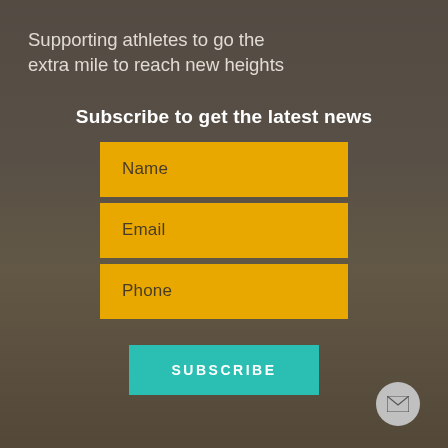Supporting athletes to go the extra mile to reach new heights
Subscribe to get the latest news
Name
Email
Phone
SUBSCRIBE